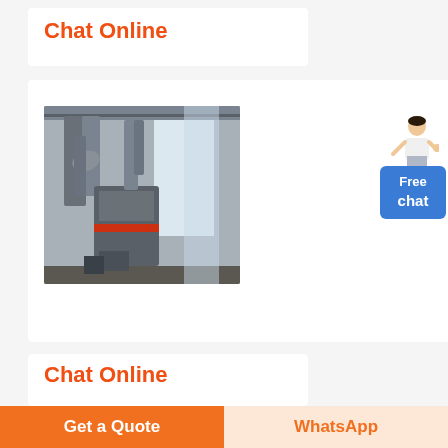Chat Online
[Figure (photo): Industrial milling/grinding machinery inside a large factory building with metal ductwork and conveyor systems]
[Figure (illustration): Free chat widget with a person figure and blue button labeled Free chat]
Chat Online
[Figure (photo): Partially visible industrial silos/towers photograph at bottom of page]
Get a Quote | WhatsApp